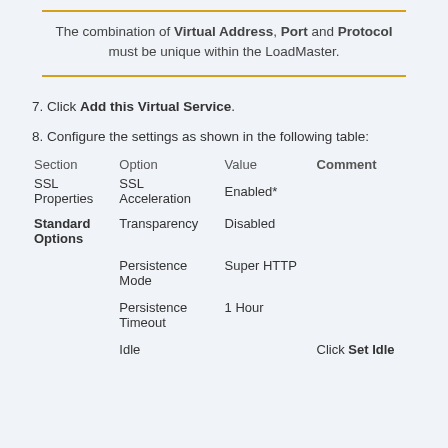The combination of Virtual Address, Port and Protocol must be unique within the LoadMaster.
7. Click Add this Virtual Service.
8. Configure the settings as shown in the following table:
| Section | Option | Value | Comment |
| --- | --- | --- | --- |
| SSL Properties | SSL Acceleration | Enabled* |  |
| Standard Options | Transparency | Disabled |  |
|  | Persistence Mode | Super HTTP |  |
|  | Persistence Timeout | 1 Hour |  |
|  | Idle |  | Click Set Idle |